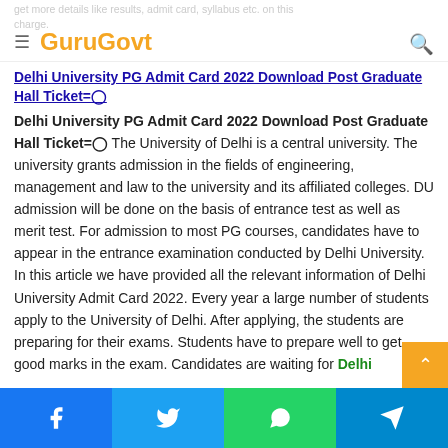GuruGovt
Delhi University PG Admit Card 2022 Download Post Graduate Hall Ticket=⊡
The University of Delhi is a central university. The university grants admission in the fields of engineering, management and law to the university and its affiliated colleges. DU admission will be done on the basis of entrance test as well as merit test. For admission to most PG courses, candidates have to appear in the entrance examination conducted by Delhi University. In this article we have provided all the relevant information of Delhi University Admit Card 2022. Every year a large number of students apply to the University of Delhi. After applying, the students are preparing for their exams. Students have to prepare well to get good marks in the exam. Candidates are waiting for Delhi
Facebook Twitter WhatsApp Telegram